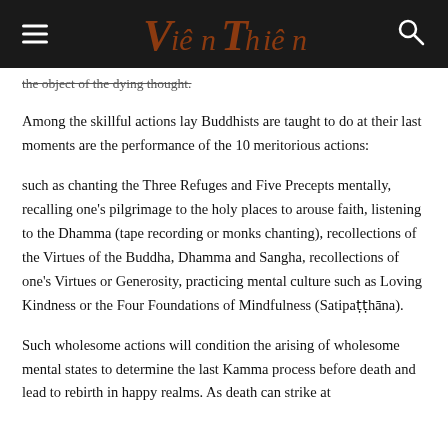Viên Thiền
the object of the dying thought.
Among the skillful actions lay Buddhists are taught to do at their last moments are the performance of the 10 meritorious actions:
such as chanting the Three Refuges and Five Precepts mentally, recalling one's pilgrimage to the holy places to arouse faith, listening to the Dhamma (tape recording or monks chanting), recollections of the Virtues of the Buddha, Dhamma and Sangha, recollections of one's Virtues or Generosity, practicing mental culture such as Loving Kindness or the Four Foundations of Mindfulness (Satipaṭṭhāna).
Such wholesome actions will condition the arising of wholesome mental states to determine the last Kamma process before death and lead to rebirth in happy realms. As death can strike at